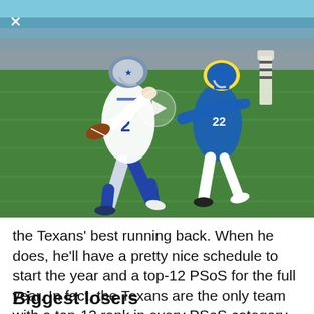[Figure (photo): NFL football action shot showing a Dallas Cowboys receiver wearing #2 in white uniform running with the ball while being defended by a Los Angeles Chargers player wearing #22 in blue uniform. A referee in striped uniform is visible in the background. Stadium crowd visible. A play button overlay is centered on the image.]
the Texans' best running back. When he does, he'll have a pretty nice schedule to start the year and a top-12 PSoS for the full year. In fact, the Texans are the only team with a top-12 rank in every PSoS category.
Biggest losers